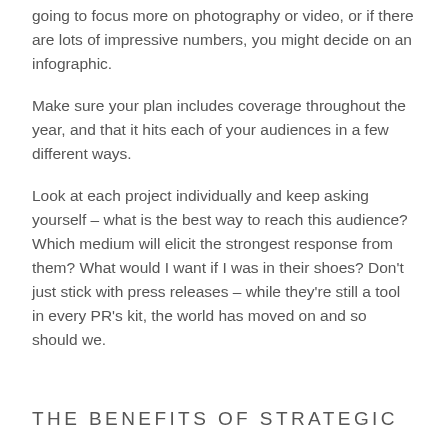going to focus more on photography or video, or if there are lots of impressive numbers, you might decide on an infographic.
Make sure your plan includes coverage throughout the year, and that it hits each of your audiences in a few different ways.
Look at each project individually and keep asking yourself – what is the best way to reach this audience? Which medium will elicit the strongest response from them? What would I want if I was in their shoes? Don’t just stick with press releases – while they’re still a tool in every PR’s kit, the world has moved on and so should we.
THE BENEFITS OF STRATEGIC